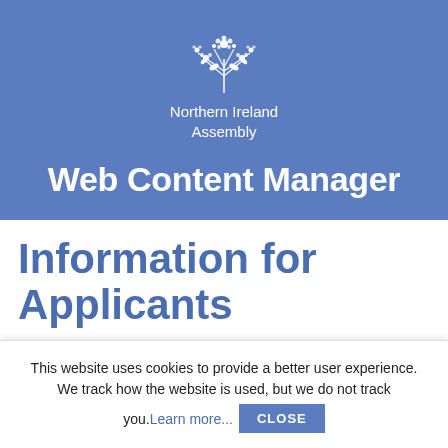[Figure (logo): Northern Ireland Assembly floral logo — white flower/plant illustration on blue background]
Web Content Manager
Information for Applicants
This website uses cookies to provide a better user experience. We track how the website is used, but we do not track you.Learn more...